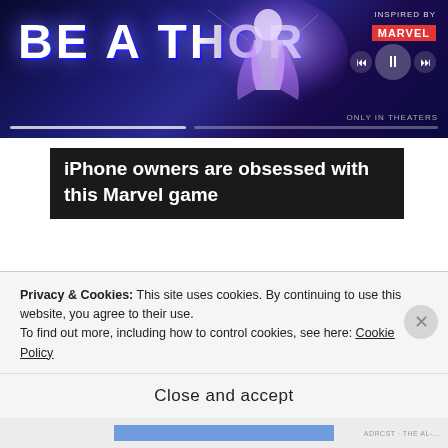[Figure (screenshot): Advertisement banner for a Marvel game with 'BE A THOR' text in large bold white letters on dark blue/purple background, Marvel logo, media playback controls, and 'INSPIRED BY' text on upper right. Progress bars visible at bottom of banner.]
iPhone owners are obsessed with this Marvel game
[Figure (photo): Photo of a high-end smart bed/furniture piece in white and beige upholstery with built-in speakers, reading lamps, and storage compartments, shown with brown pillows and a decorative runner on the mattress.]
Privacy & Cookies: This site uses cookies. By continuing to use this website, you agree to their use.
To find out more, including how to control cookies, see here: Cookie Policy
Close and accept